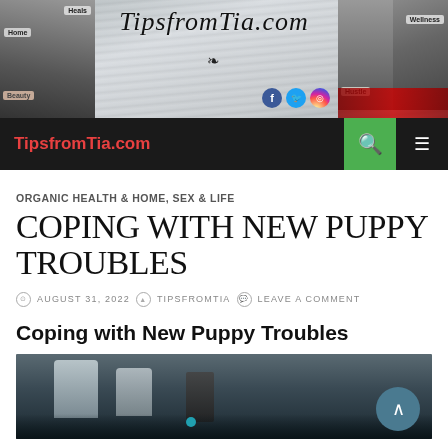[Figure (screenshot): TipsfromTia.com website banner with script logo text, social media icons, and decorative photos on left and right sides]
TipsfromTia.com
ORGANIC HEALTH & HOME, SEX & LIFE
COPING WITH NEW PUPPY TROUBLES
AUGUST 31, 2022  TIPSFROMTIA  LEAVE A COMMENT
Coping with New Puppy Troubles
[Figure (photo): Blurred interior photo showing lamps on a dark background, with a teal scroll-to-top button overlay]